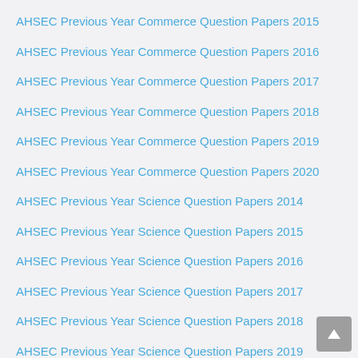AHSEC Previous Year Commerce Question Papers 2015
AHSEC Previous Year Commerce Question Papers 2016
AHSEC Previous Year Commerce Question Papers 2017
AHSEC Previous Year Commerce Question Papers 2018
AHSEC Previous Year Commerce Question Papers 2019
AHSEC Previous Year Commerce Question Papers 2020
AHSEC Previous Year Science Question Papers 2014
AHSEC Previous Year Science Question Papers 2015
AHSEC Previous Year Science Question Papers 2016
AHSEC Previous Year Science Question Papers 2017
AHSEC Previous Year Science Question Papers 2018
AHSEC Previous Year Science Question Papers 2019
AHSEC Previous Year Science Question Papers 2020